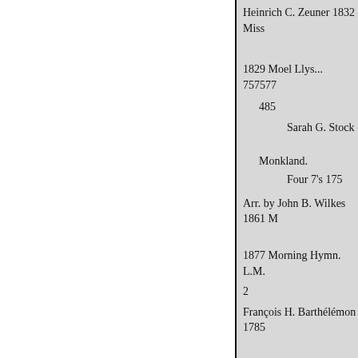Heinrich C. Zeuner 1832 Miss
1829 Moel Llys... 757577
485
Sarah G. Stock
Monkland.
Four 7's 175
Arr. by John B. Wilkes 1861 M
1877 Morning Hymn. L.M.
2
François H. Barthélémon 1785
1861Moscow.. 6646664 104, 1
1769 Moseley.. Four 6's 235, 3
1881 Moultrie..